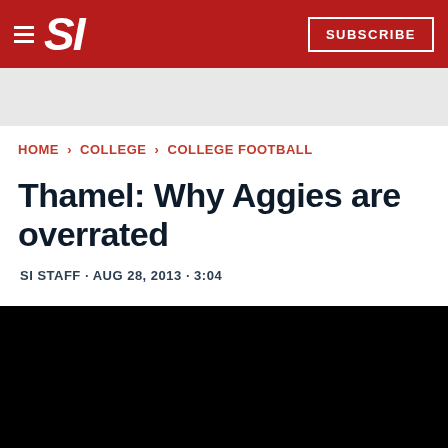SI  SUBSCRIBE
HOME › COLLEGE › COLLEGE FOOTBALL
Thamel: Why Aggies are overrated
SI STAFF · AUG 28, 2013 · 3:04
[Figure (photo): Black image area below the article header]